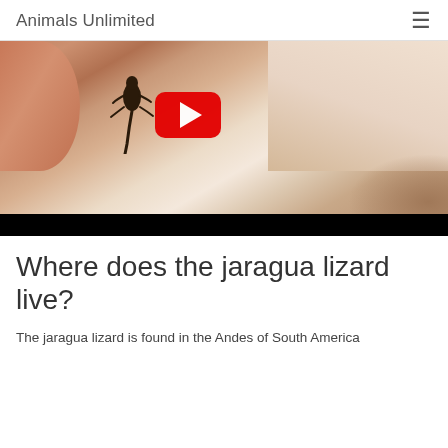Animals Unlimited
[Figure (screenshot): YouTube video thumbnail showing a tiny jaragua lizard on a person's finger, with a YouTube play button overlay and a black video control bar at the bottom]
Where does the jaragua lizard live?
The jaragua lizard is found in the Andes of South America